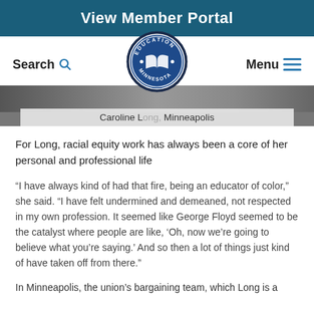View Member Portal
Search  Menu
[Figure (logo): Education Minnesota circular logo with open book]
Caroline L... Minneapolis
For Long, racial equity work has always been a core of her personal and professional life
“I have always kind of had that fire, being an educator of color,” she said. “I have felt undermined and demeaned, not respected in my own profession. It seemed like George Floyd seemed to be the catalyst where people are like, ‘Oh, now we’re going to believe what you’re saying.’ And so then a lot of things just kind of have taken off from there.”
In Minneapolis, the union’s bargaining team, which Long is a